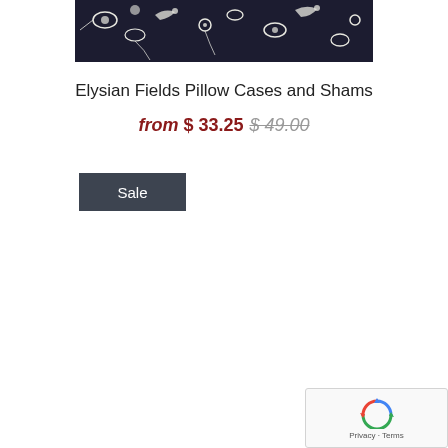[Figure (photo): Cropped product photo showing black fabric with white floral/bird pattern (Elysian Fields design), visible at top of page]
Elysian Fields Pillow Cases and Shams
from $ 33.25 $ 49.00
Sale
[Figure (other): reCAPTCHA widget showing recycling arrows logo with Privacy - Terms text]